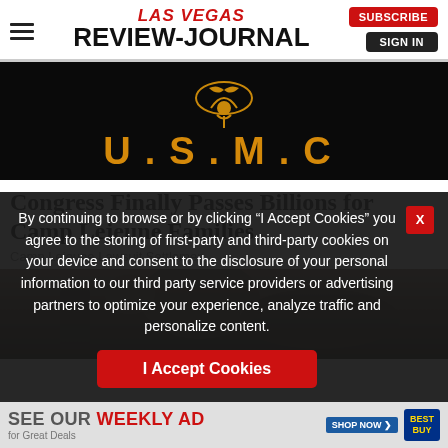LAS VEGAS REVIEW-JOURNAL
[Figure (photo): USMC logo on black background with gold eagle globe anchor emblem above gold text U.S.M.C.]
Congress Finally Passes Billions for Camp Lejeune Families
Camp Lejeune Lawsuit Settlemen
[Figure (photo): Close-up photo of soldiers in military gear, dark and earthy tones]
By continuing to browse or by clicking “I Accept Cookies” you agree to the storing of first-party and third-party cookies on your device and consent to the disclosure of your personal information to our third party service providers or advertising partners to optimize your experience, analyze traffic and personalize content.
I Accept Cookies
SEE OUR WEEKLY AD for Great Deals